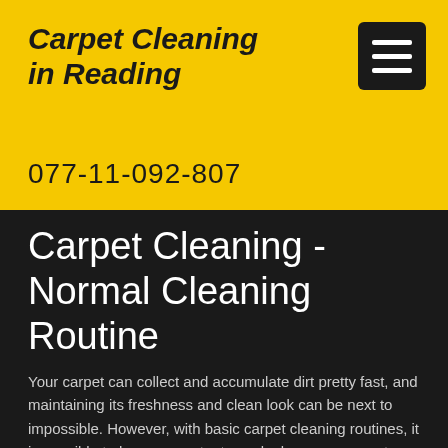Carpet Cleaning in Reading
077-11-092-807
Carpet Cleaning - Normal Cleaning Routine
Your carpet can collect and accumulate dirt pretty fast, and maintaining its freshness and clean look can be next to impossible. However, with basic carpet cleaning routines, it is possible to have a constant new look on your carpet. Before getting to the point of deep cleaning the